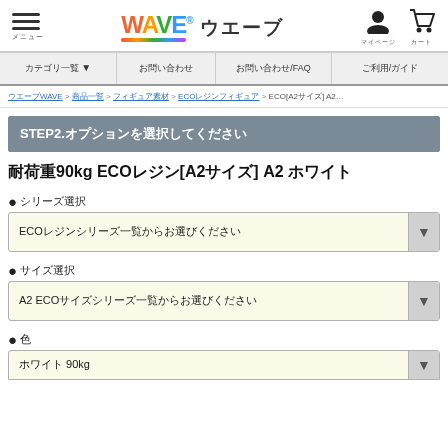WAVE ウエーブ — navigation header with hamburger menu, logo, user icon, cart icon
メニュー　カテゴリ一覧　お問い合わせ/FAQ　ご利用/ガイド
ウエーブWAVE > 商品一覧 > フィギュア素材 > ECOレジンフィギュア > ECO[A2サイズ] A2 選択
STEP2.オプションを選択してください
耐荷重90kg ECOレジン[A2サイズ] A2 ホワイト
●シリーズ選択
ECOレジンシリーズ一覧からお選びください
●サイズ選択
A2 ECOサイズシリーズ一覧からお選びください
●色
ホワイト 90kg